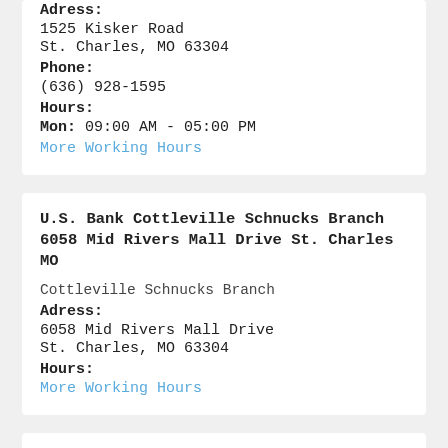Adress:
1525 Kisker Road
St. Charles, MO 63304
Phone:
(636) 928-1595
Hours:
Mon: 09:00 AM - 05:00 PM
More Working Hours
U.S. Bank Cottleville Schnucks Branch 6058 Mid Rivers Mall Drive St. Charles MO
Cottleville Schnucks Branch
Adress:
6058 Mid Rivers Mall Drive
St. Charles, MO 63304
Hours:
More Working Hours
U.S. Bank Bowling Green Branch 317 West Main Street Bowling Green MO